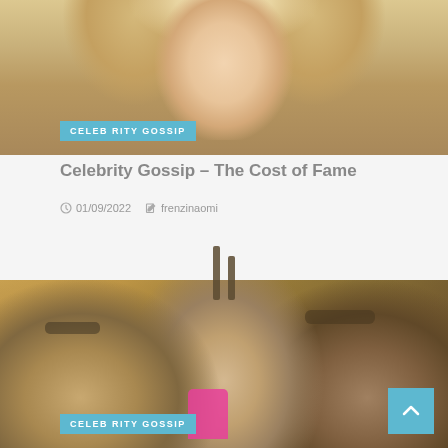[Figure (photo): Cropped photo of a blonde woman, partially visible from chin up, occupying the top section of the page.]
CELEBRITY GOSSIP
Celebrity Gossip – The Cost of Fame
01/09/2022   frenzinaomi
[Figure (photo): Photo of three people (two men and a woman in pink dress) posing together, with a 'CELEBRITY GOSSIP' tag and a scroll-up button.]
CELEBRITY GOSSIP